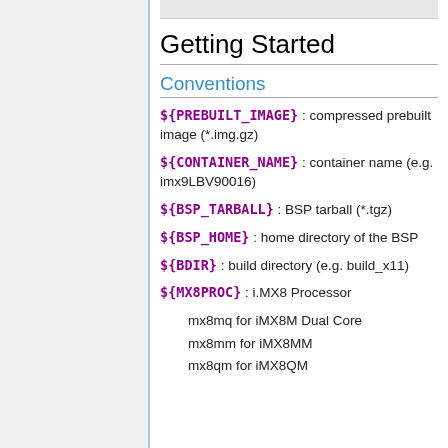Getting Started
Conventions
${PREBUILT_IMAGE} : compressed prebuilt image (*.img.gz)
${CONTAINER_NAME} : container name (e.g. imx9LBV90016)
${BSP_TARBALL} : BSP tarball (*.tgz)
${BSP_HOME} : home directory of the BSP
${BDIR} : build directory (e.g. build_x11)
${MX8PROC} : i.MX8 Processor
mx8mq for iMX8M Dual Core
mx8mm for iMX8MM
mx8qm for iMX8QM